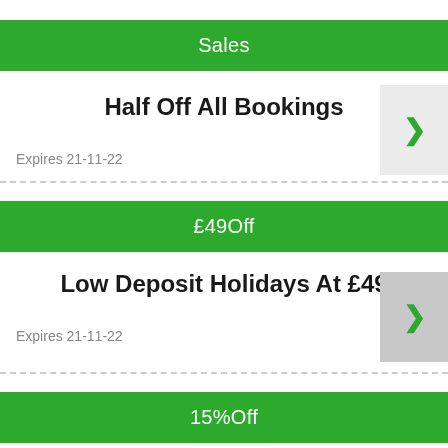Sales
Half Off All Bookings
Expires 21-11-22
£49Off
Low Deposit Holidays At £49
Expires 21-11-22
15%Off